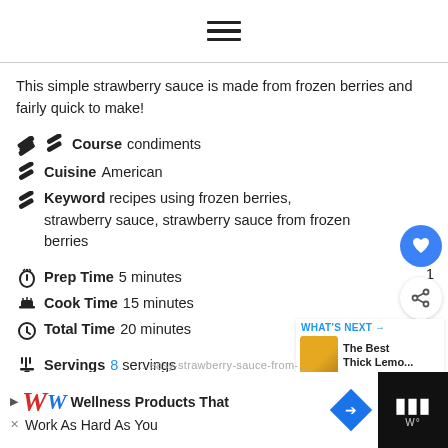☰ (hamburger menu icon)
This simple strawberry sauce is made from frozen berries and fairly quick to make!
Course  condiments
Cuisine  American
Keyword  recipes using frozen berries, strawberry sauce, strawberry sauce from frozen berries
Prep Time  5 minutes
Cook Time  15 minutes
Total Time  20 minutes
Servings  8 servings
Author  Amy- A Red Spatula